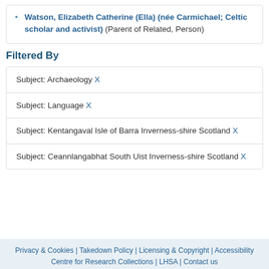Watson, Elizabeth Catherine (Ella) (née Carmichael; Celtic scholar and activist) (Parent of Related, Person)
Filtered By
Subject: Archaeology X
Subject: Language X
Subject: Kentangaval Isle of Barra Inverness-shire Scotland X
Subject: Ceannlangabhat South Uist Inverness-shire Scotland X
Privacy & Cookies | Takedown Policy | Licensing & Copyright | Accessibility | Centre for Research Collections | LHSA | Contact us